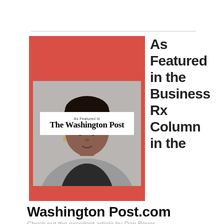[Figure (photo): Photo of a woman with short natural hair against a gray/red background, with a Washington Post 'As Featured in' badge overlay showing 'The Washington Post' in blackletter font.]
As Featured in the Business Rx Column in the
Washington Post.com
Check out the excellent article by Dan Beyer